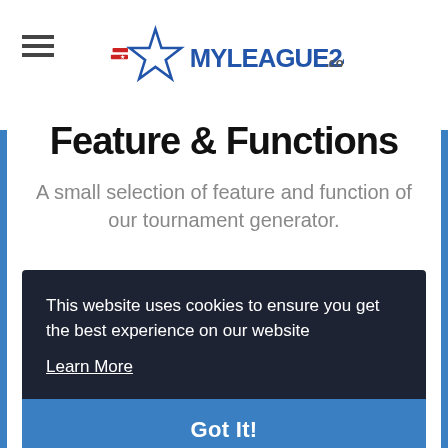MYLEAGUE24.com
Feature & Functions
A small selection of feature and function of our tournament generator.
This website uses cookies to ensure you get the best experience on our website
Learn More
Got It!
Our round robin fixture generator is completely free.